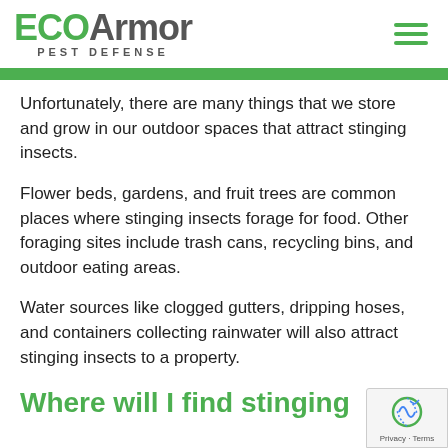ECOArmor PEST DEFENSE
Unfortunately, there are many things that we store and grow in our outdoor spaces that attract stinging insects.
Flower beds, gardens, and fruit trees are common places where stinging insects forage for food. Other foraging sites include trash cans, recycling bins, and outdoor eating areas.
Water sources like clogged gutters, dripping hoses, and containers collecting rainwater will also attract stinging insects to a property.
Where will I find stinging